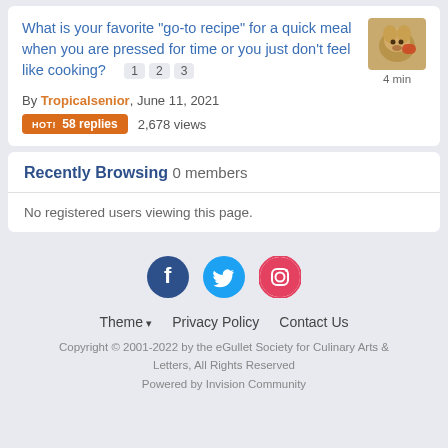What is your favorite "go-to recipe" for a quick meal when you are pressed for time or you just don't feel like cooking? 1 2 3
By Tropicalsenior, June 11, 2021
HOT! 58 replies   2,678 views
Recently Browsing   0 members
No registered users viewing this page.
[Figure (illustration): Social media icons: Facebook, Twitter, Instagram]
Theme ▾   Privacy Policy   Contact Us
Copyright © 2001-2022 by the eGullet Society for Culinary Arts & Letters, All Rights Reserved
Powered by Invision Community